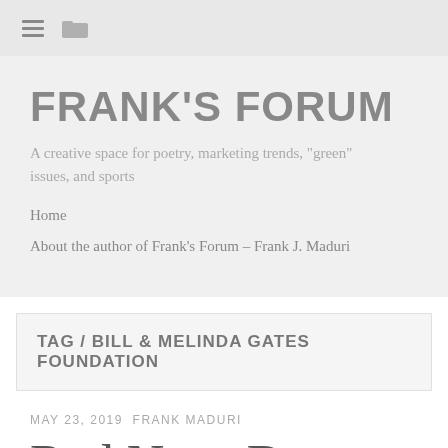☰ 🗂
FRANK'S FORUM
A creative space for poetry, marketing trends, "green" issues, and sports
Home
About the author of Frank's Forum – Frank J. Maduri
TAG / BILL & MELINDA GATES FOUNDATION
MAY 23, 2019 FRANK MADURI
Red Nose Day 2019: